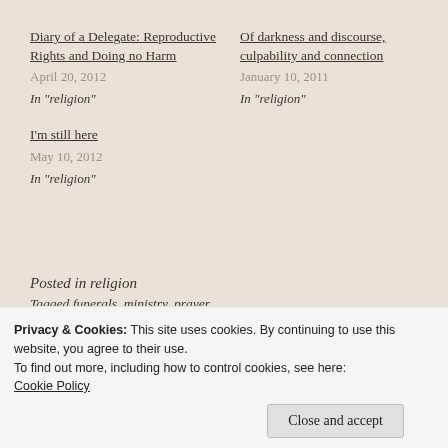Diary of a Delegate: Reproductive Rights and Doing no Harm
April 20, 2012
In “religion”
Of darkness and discourse, culpability and connection
January 10, 2011
In “religion”
I’m still here
May 10, 2012
In “religion”
Posted in religion
Tagged funerals, ministry, prayer
Privacy & Cookies: This site uses cookies. By continuing to use this website, you agree to their use.
To find out more, including how to control cookies, see here:
Cookie Policy
Close and accept